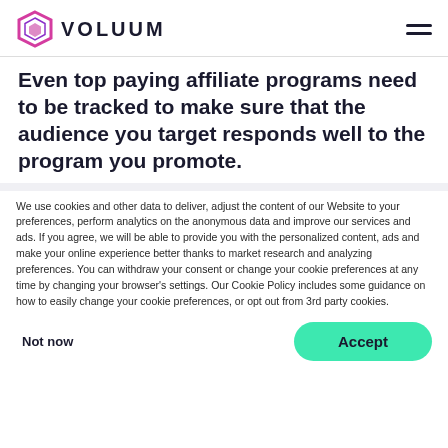VOLUUM
Even top paying affiliate programs need to be tracked to make sure that the audience you target responds well to the program you promote.
We use cookies and other data to deliver, adjust the content of our Website to your preferences, perform analytics on the anonymous data and improve our services and ads. If you agree, we will be able to provide you with the personalized content, ads and make your online experience better thanks to market research and analyzing preferences. You can withdraw your consent or change your cookie preferences at any time by changing your browser's settings. Our Cookie Policy includes some guidance on how to easily change your cookie preferences, or opt out from 3rd party cookies.
Not now
Accept